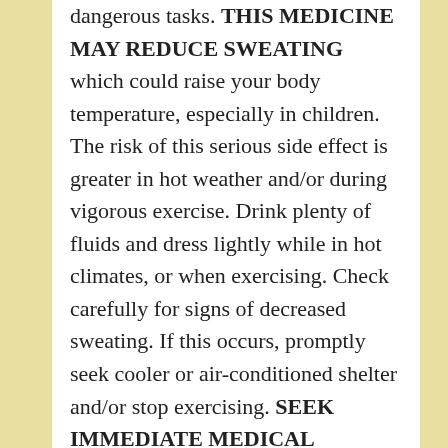dangerous tasks. THIS MEDICINE MAY REDUCE SWEATING which could raise your body temperature, especially in children. The risk of this serious side effect is greater in hot weather and/or during vigorous exercise. Drink plenty of fluids and dress lightly while in hot climates, or when exercising. Check carefully for signs of decreased sweating. If this occurs, promptly seek cooler or air-conditioned shelter and/or stop exercising. SEEK IMMEDIATE MEDICAL ATTENTION if your body temperature is above normal, or if you have mental or mood changes,